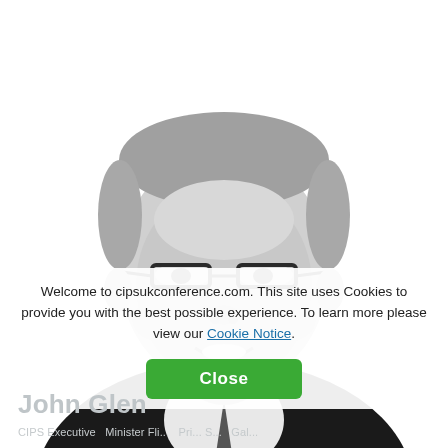[Figure (photo): Black and white professional headshot of a middle-aged man with glasses, short grey hair, wearing a dark suit and tie, smiling at the camera against a white background.]
Welcome to cipsukconference.com. This site uses Cookies to provide you with the best possible experience. To learn more please view our Cookie Notice.
Close
John Glen
CIPS Executive... Minister Fli... Pri... S... Gal...